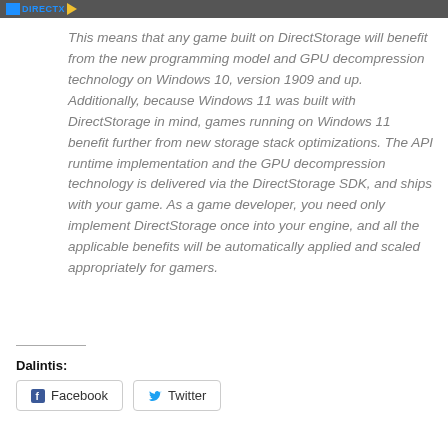DirectStorage logo header bar
This means that any game built on DirectStorage will benefit from the new programming model and GPU decompression technology on Windows 10, version 1909 and up. Additionally, because Windows 11 was built with DirectStorage in mind, games running on Windows 11 benefit further from new storage stack optimizations. The API runtime implementation and the GPU decompression technology is delivered via the DirectStorage SDK, and ships with your game. As a game developer, you need only implement DirectStorage once into your engine, and all the applicable benefits will be automatically applied and scaled appropriately for gamers.
Dalintis:
[Figure (other): Facebook and Twitter share buttons]